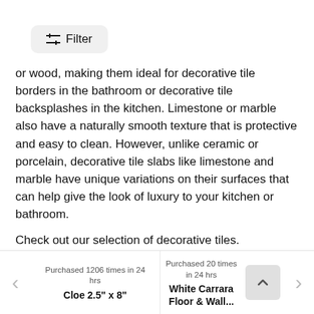Filter
or wood, making them ideal for decorative tile borders in the bathroom or decorative tile backsplashes in the kitchen. Limestone or marble also have a naturally smooth texture that is protective and easy to clean. However, unlike ceramic or porcelain, decorative tile slabs like limestone and marble have unique variations on their surfaces that can help give the look of luxury to your kitchen or bathroom.
Check out our selection of decorative tiles.
Top Sellers
Purchased 1206 times in 24 hrs
Cloe 2.5" x 8"
Purchased 20 times in 24 hrs
White Carrara Floor & Wall...